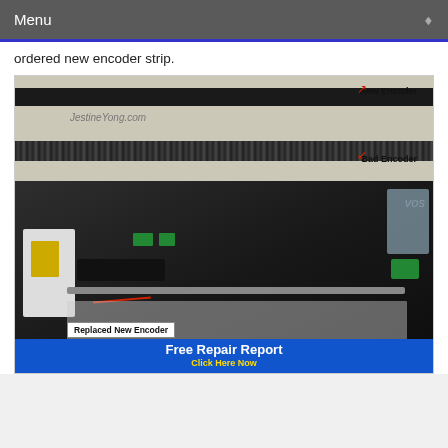Menu
ordered new encoder strip.
[Figure (photo): Comparison of new encoder strip (top, clean dark strip) vs bad encoder strip (bottom, dirty/damaged strip) with labels and arrows. Watermark: JestineYong.com]
[Figure (photo): Interior of printer showing replaced new encoder strip installed. Green circuit boards, black carriage, white parts, yellow label visible. Callout box reads 'Replaced New Encoder'. Bottom banner: 'Free Repair Report / Click Here Now']